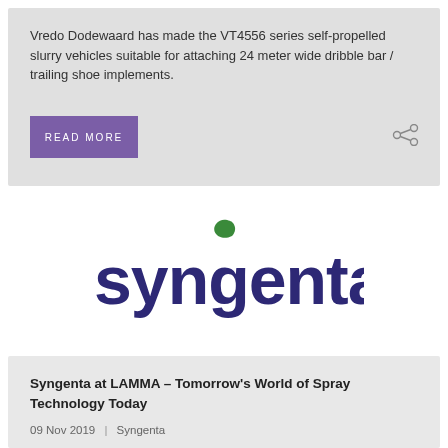Vredo Dodewaard has made the VT4556 series self-propelled slurry vehicles suitable for attaching 24 meter wide dribble bar / trailing shoe implements.
[Figure (logo): Syngenta logo — dark navy blue lowercase bold text 'syngenta' with a green leaf above the letter 'g']
Syngenta at LAMMA – Tomorrow's World of Spray Technology Today
09 Nov 2019  |  Syngenta